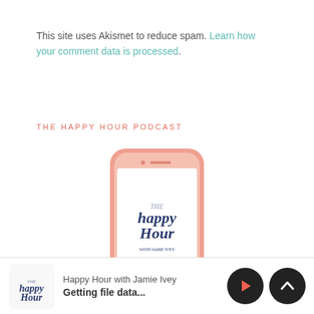This site uses Akismet to reduce spam. Learn how your comment data is processed.
THE HAPPY HOUR PODCAST
[Figure (photo): iPhone mockup displaying 'The Happy Hour with Jamie Ivey' podcast logo on screen, shown in a salmon/rose-gold colored phone frame]
Happy Hour with Jamie Ivey
Getting file data...